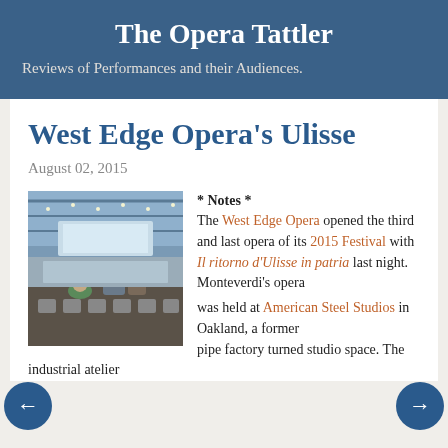The Opera Tattler
Reviews of Performances and their Audiences.
West Edge Opera's Ulisse
August 02, 2015
[Figure (photo): Interior of a large industrial venue with high ceilings, string lights, and audience members seated in folding chairs facing a stage area.]
* Notes *
The West Edge Opera opened the third and last opera of its 2015 Festival with Il ritorno d'Ulisse in patria last night. Monteverdi's opera was held at American Steel Studios in Oakland, a former pipe factory turned studio space. The industrial atelier